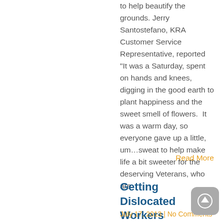to help beautify the grounds. Jerry Santostefano, KRA Customer Service Representative, reported “It was a Saturday, spent on hands and knees, digging in the good earth to plant happiness and the sweet smell of flowers. It was a warm day, so everyone gave up a little, um…sweat to help make life a bit sweeter for the deserving Veterans, who are
Read More
Getting Dislocated Workers Back to Work
July 17, 2013 | No Comments